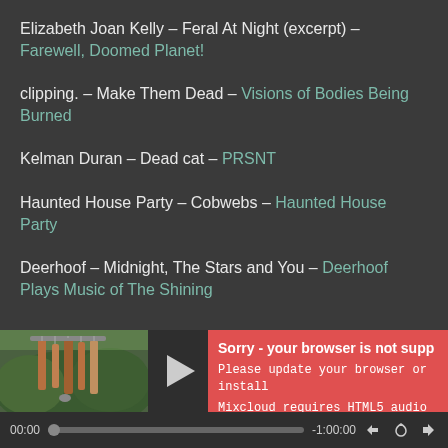Elizabeth Joan Kelly – Feral At Night (excerpt) – Farewell, Doomed Planet!
clipping. – Make Them Dead – Visions of Bodies Being Burned
Kelman Duran – Dead cat – PRSNT
Haunted House Party – Cobwebs – Haunted House Party
Deerhoof – Midnight, The Stars and You – Deerhoof Plays Music of The Shining
[Figure (screenshot): Music player widget with album art showing wind chimes in a garden, a play button, and an error banner reading 'Sorry - your browser is not supp[orted]'. Below is a progress bar showing 00:00 and -1:00:00 with playback controls.]